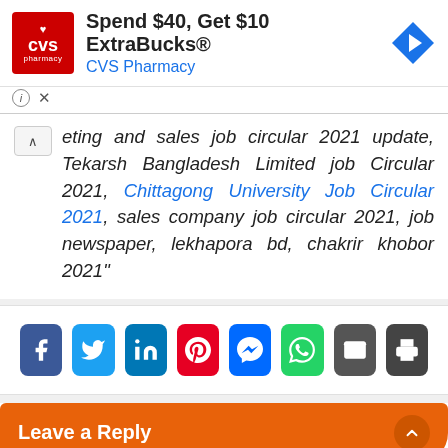[Figure (screenshot): CVS Pharmacy advertisement banner: CVS logo (red square), 'Spend $40, Get $10 ExtraBucks® CVS Pharmacy', blue navigation arrow icon]
eting and sales job circular 2021 update, Tekarsh Bangladesh Limited job Circular 2021, Chittagong University Job Circular 2021, sales company job circular 2021, job newspaper, lekhapora bd, chakrir khobor 2021"
[Figure (screenshot): Social share buttons: Facebook, Twitter, LinkedIn, Pinterest, Messenger, WhatsApp, Email, Print]
Leave a Reply